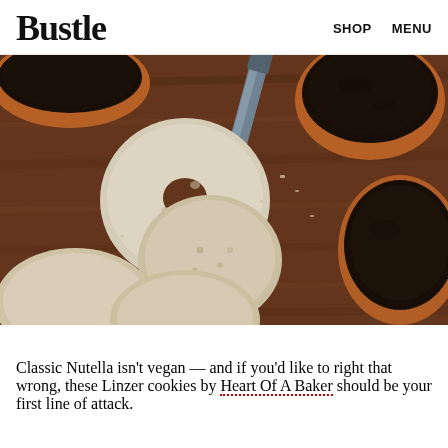Bustle  SHOP  MENU
[Figure (photo): Overhead view of Linzer cookies (ring-shaped and round shortbread cookies) on a wooden surface alongside dark chocolate-topped cookies and a butter knife]
Classic Nutella isn't vegan — and if you'd like to right that wrong, these Linzer cookies by Heart Of A Baker should be your first line of attack.